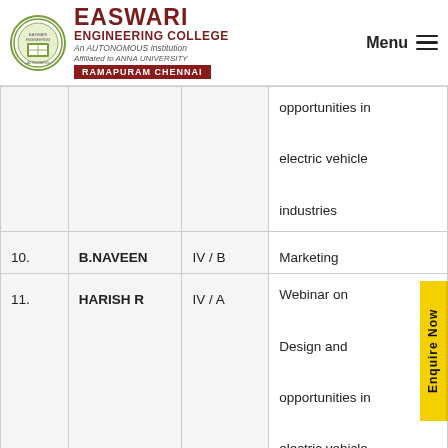[Figure (logo): Easwari Engineering College logo with circular emblem and college name block showing EASWARI ENGINEERING COLLEGE, An AUTONOMOUS Institution, Affiliated to ANNA UNIVERSITY, RAMAPURAM CHENNAI]
| No. | Name | Class | Event/Topic |
| --- | --- | --- | --- |
|  |  |  | opportunities in electric vehicle industries |
| 10. | B.NAVEEN | IV / B | Marketing |
| 11. | HARISH R | IV / A | Webinar on Design and opportunities in electric vehicle industries |